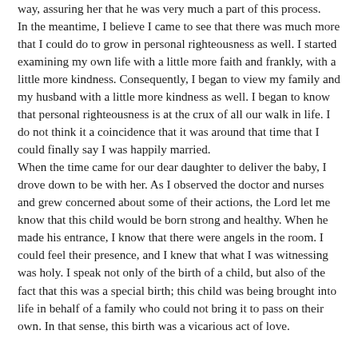way, assuring her that he was very much a part of this process. In the meantime, I believe I came to see that there was much more that I could do to grow in personal righteousness as well. I started examining my own life with a little more faith and frankly, with a little more kindness. Consequently, I began to view my family and my husband with a little more kindness as well. I began to know that personal righteousness is at the crux of all our walk in life. I do not think it a coincidence that it was around that time that I could finally say I was happily married. When the time came for our dear daughter to deliver the baby, I drove down to be with her. As I observed the doctor and nurses and grew concerned about some of their actions, the Lord let me know that this child would be born strong and healthy. When he made his entrance, I know that there were angels in the room. I could feel their presence, and I knew that what I was witnessing was holy. I speak not only of the birth of a child, but also of the fact that this was a special birth; this child was being brought into life in behalf of a family who could not bring it to pass on their own. In that sense, this birth was a vicarious act of love.